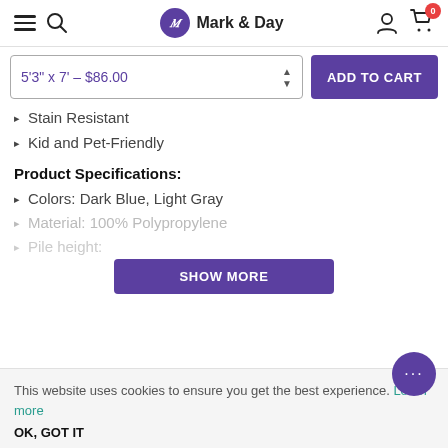Mark & Day
5'3" x 7' – $86.00
ADD TO CART
Stain Resistant
Kid and Pet-Friendly
Product Specifications:
Colors: Dark Blue, Light Gray
Material: 100% Polypropylene
SHOW MORE
This website uses cookies to ensure you get the best experience. Learn more
OK, GOT IT